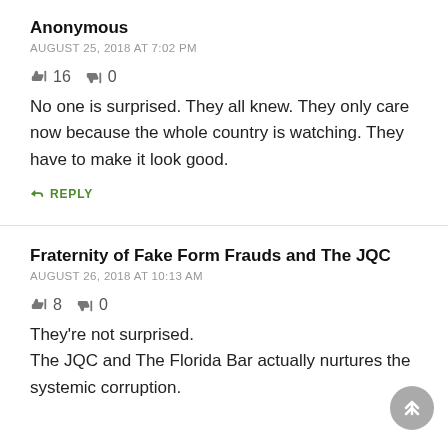Anonymous
AUGUST 25, 2018 AT 7:02 PM
👍 16  👎 0
No one is surprised. They all knew. They only care now because the whole country is watching. They have to make it look good.
↪ REPLY
Fraternity of Fake Form Frauds and The JQC
AUGUST 26, 2018 AT 10:13 AM
👍 8  👎 0
They're not surprised.
The JQC and The Florida Bar actually nurtures the systemic corruption.